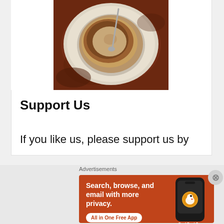[Figure (photo): Aerial view of a coffee cup on a saucer with a spoon, on a dark wood/brown table surface]
Support Us
If you like us, please support us by
[Figure (infographic): DuckDuckGo advertisement banner: orange background with white text 'Search, browse, and email with more privacy. All in One Free App' and an image of a smartphone showing DuckDuckGo logo. Labeled 'Advertisements' above.]